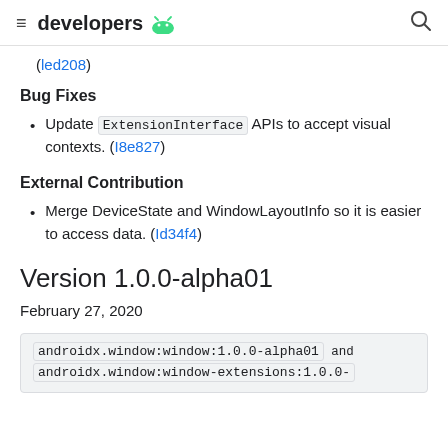≡ developers 🤖 🔍
(led208)
Bug Fixes
Update ExtensionInterface APIs to accept visual contexts. (I8e827)
External Contribution
Merge DeviceState and WindowLayoutInfo so it is easier to access data. (Id34f4)
Version 1.0.0-alpha01
February 27, 2020
androidx.window:window:1.0.0-alpha01 and androidx.window:window-extensions:1.0.0-